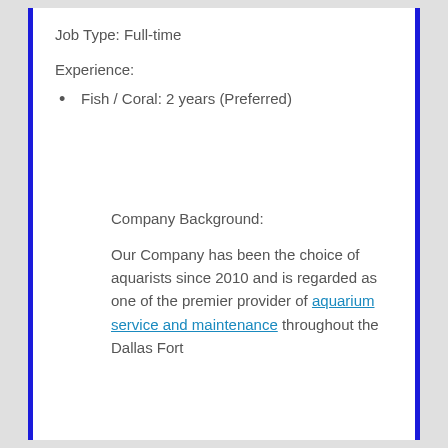Job Type: Full-time
Experience:
Fish / Coral: 2 years (Preferred)
Company Background:
Our Company has been the choice of aquarists since 2010 and is regarded as one of the premier provider of aquarium service and maintenance throughout the Dallas Fort